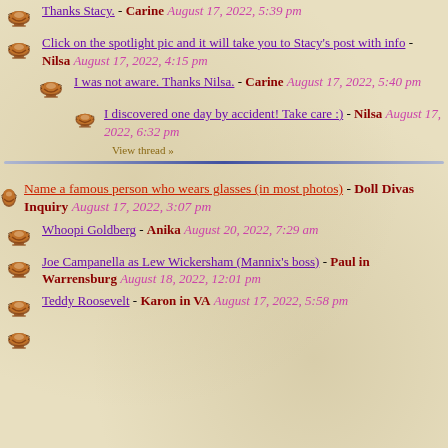Thanks Stacy. - Carine August 17, 2022, 5:39 pm
Click on the spotlight pic and it will take you to Stacy's post with info - Nilsa August 17, 2022, 4:15 pm
I was not aware. Thanks Nilsa. - Carine August 17, 2022, 5:40 pm
I discovered one day by accident! Take care :) - Nilsa August 17, 2022, 6:32 pm
View thread »
Name a famous person who wears glasses (in most photos) - Doll Divas Inquiry August 17, 2022, 3:07 pm
Whoopi Goldberg - Anika August 20, 2022, 7:29 am
Joe Campanella as Lew Wickersham (Mannix's boss) - Paul in Warrensburg August 18, 2022, 12:01 pm
Teddy Roosevelt - Karon in VA August 17, 2022, 5:58 pm